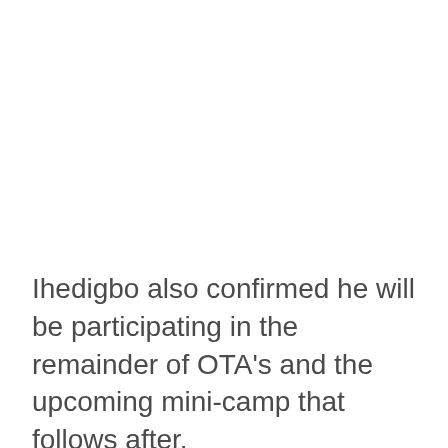Ihedigbo also confirmed he will be participating in the remainder of OTA's and the upcoming mini-camp that follows after.